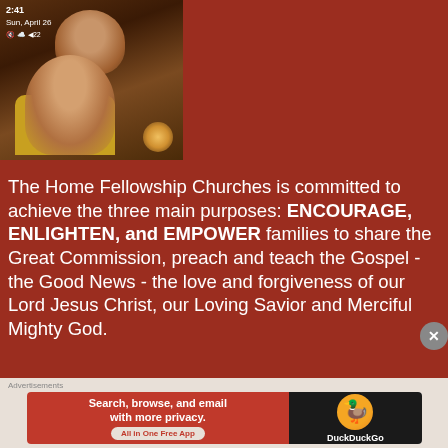[Figure (photo): Screenshot of a social media post showing two people (a woman and a man) in a photo, with timestamp 2:41, date Sun, April 26, and some icons overlaid. The background is dark reddish-brown.]
The Home Fellowship Churches is committed to achieve the three main purposes: ENCOURAGE, ENLIGHTEN, and EMPOWER families to share the Great Commission, preach and teach the Gospel - the Good News - the love and forgiveness of our Lord Jesus Christ, our Loving Savior and Merciful Mighty God.
Advertisements
[Figure (screenshot): DuckDuckGo advertisement banner: 'Search, browse, and email with more privacy. All in One Free App' with DuckDuckGo logo on dark background.]